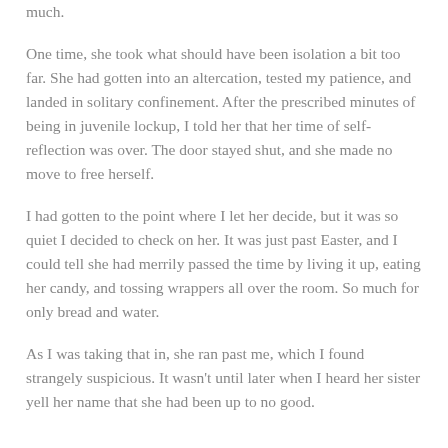much.
One time, she took what should have been isolation a bit too far. She had gotten into an altercation, tested my patience, and landed in solitary confinement. After the prescribed minutes of being in juvenile lockup, I told her that her time of self-reflection was over. The door stayed shut, and she made no move to free herself.
I had gotten to the point where I let her decide, but it was so quiet I decided to check on her. It was just past Easter, and I could tell she had merrily passed the time by living it up, eating her candy, and tossing wrappers all over the room. So much for only bread and water.
As I was taking that in, she ran past me, which I found strangely suspicious. It wasn't until later when I heard her sister yell her name that she had been up to no good.